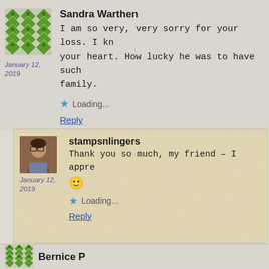[Figure (illustration): Green quilted pattern avatar for Sandra Warthen]
Sandra Warthen
January 12, 2019
I am so very, very sorry for your loss. I kn your heart. How lucky he was to have such family.
Loading...
Reply
[Figure (photo): Profile photo of stampsnlingers - woman with glasses]
stampsnlingers
January 12, 2019
Thank you so much, my friend – I appre
🙂
Loading...
Reply
[Figure (illustration): Green quilted pattern avatar for Bernice P]
Bernice P